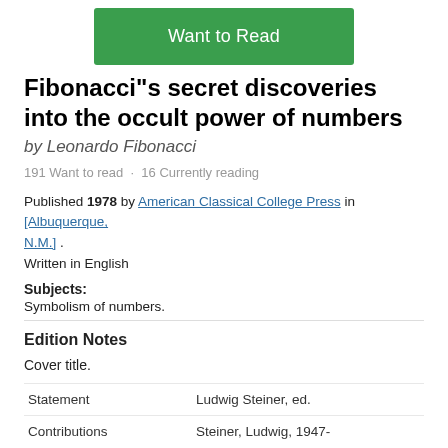[Figure (other): Green 'Want to Read' button]
Fibonacci"s secret discoveries into the occult power of numbers
by Leonardo Fibonacci
191 Want to read · 16 Currently reading
Published 1978 by American Classical College Press in [Albuquerque, N.M.] .
Written in English
Subjects:
Symbolism of numbers.
Edition Notes
Cover title.
|  |  |
| --- | --- |
| Statement | Ludwig Steiner, ed. |
| Contributions | Steiner, Ludwig, 1947- |